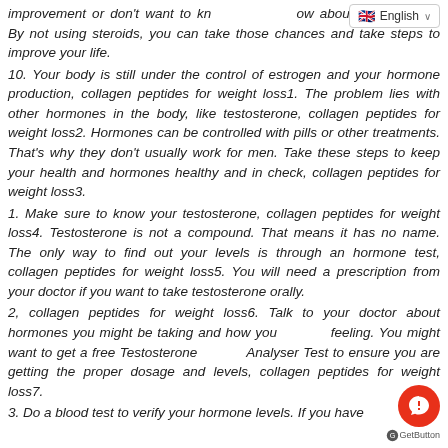English language selector
improvement or don't want to know about weight loss0. By not using steroids, you can take those chances and take steps to improve your life.
10. Your body is still under the control of estrogen and your hormone production, collagen peptides for weight loss1. The problem lies with other hormones in the body, like testosterone, collagen peptides for weight loss2. Hormones can be controlled with pills or other treatments. That's why they don't usually work for men. Take these steps to keep your health and hormones healthy and in check, collagen peptides for weight loss3.
1. Make sure to know your testosterone, collagen peptides for weight loss4. Testosterone is not a compound. That means it has no name. The only way to find out your levels is through an hormone test, collagen peptides for weight loss5. You will need a prescription from your doctor if you want to take testosterone orally.
2, collagen peptides for weight loss6. Talk to your doctor about hormones you might be taking and how you feeling. You might want to get a free Testosterone Analyser Test to ensure you are getting the proper dosage and levels, collagen peptides for weight loss7.
3. Do a blood test to verify your hormone levels. If you have...